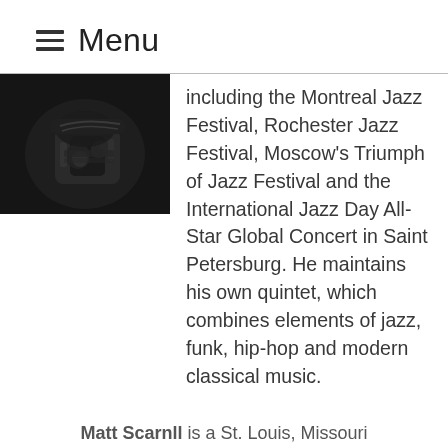≡ Menu
[Figure (photo): Dark photo of a guitarist's hands playing an electric guitar, close-up shot on dark background]
including the Montreal Jazz Festival, Rochester Jazz Festival, Moscow's Triumph of Jazz Festival and the International Jazz Day All-Star Global Concert in Saint Petersburg. He maintains his own quintet, which combines elements of jazz, funk, hip-hop and modern classical music.
Matt Scarnll is a St. Louis, Missouri